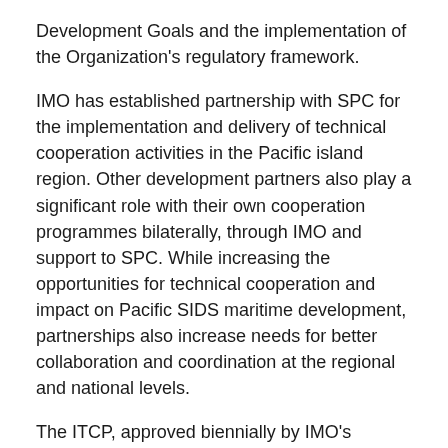Development Goals and the implementation of the Organization's regulatory framework.
IMO has established partnership with SPC for the implementation and delivery of technical cooperation activities in the Pacific island region. Other development partners also play a significant role with their own cooperation programmes bilaterally, through IMO and support to SPC. While increasing the opportunities for technical cooperation and impact on Pacific SIDS maritime development, partnerships also increase needs for better collaboration and coordination at the regional and national levels.
The ITCP, approved biennially by IMO's Technical Cooperation Committee, includes the capacity-building activities, and related national/regional events which, in the case of the Pacific Islands, is the result of consultations with Member States in the region through various forms, such as Ministerial meetings or APHoMSA, as well as needs and